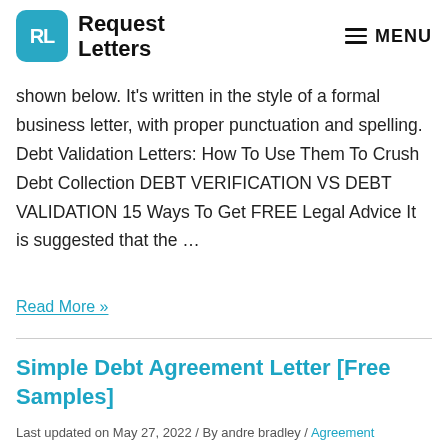RL Request Letters   MENU
shown below. It's written in the style of a formal business letter, with proper punctuation and spelling.  Debt Validation Letters: How To Use Them To Crush Debt Collection DEBT VERIFICATION VS DEBT VALIDATION 15 Ways To Get FREE Legal Advice It is suggested that the …
Read More »
Simple Debt Agreement Letter [Free Samples]
Last updated on May 27, 2022 / By andre bradley / Agreement